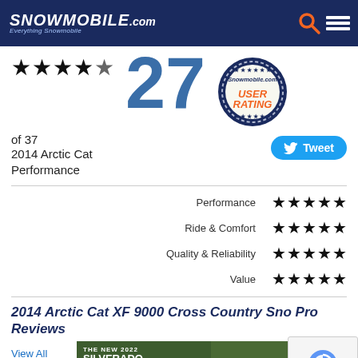Snowmobile.com — Everything Snowmobile
[Figure (infographic): User rating badge showing 4 stars, number 27, and a circular Snowmobile.com User Rating badge]
of 37
2014 Arctic Cat Performance
[Figure (infographic): Tweet button with Twitter bird icon]
| Category | Stars |
| --- | --- |
| Performance | ★★★★★ |
| Ride & Comfort | ★★★★★ |
| Quality & Reliability | ★★★★★ |
| Value | ★★★★★ |
2014 Arctic Cat XF 9000 Cross Country Sno Pro Reviews
View All Reviews
[Figure (screenshot): Chevrolet Silverado 2022 advertisement banner]